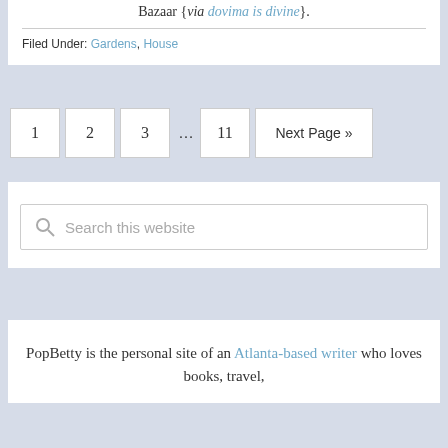Bazaar {via dovima is divine}.
Filed Under: Gardens, House
1  2  3  ...  11  Next Page »
Search this website
PopBetty is the personal site of an Atlanta-based writer who loves books, travel,